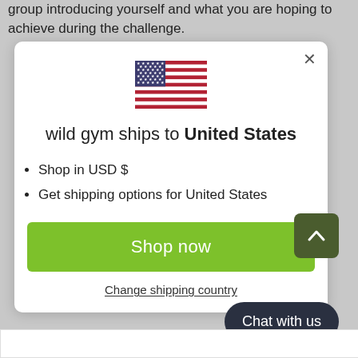group introducing yourself and what you are hoping to achieve during the challenge.
[Figure (screenshot): Modal dialog showing a US flag icon, text 'wild gym ships to United States', bullet points 'Shop in USD $' and 'Get shipping options for United States', a green 'Shop now' button, a dark green scroll-up arrow button, a 'Change shipping country' link, and a 'Chat with us' dark pill button.]
challenge)